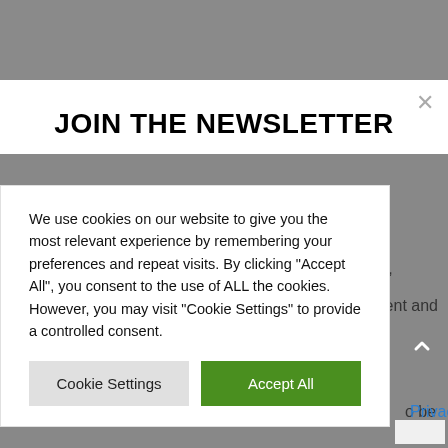[Figure (screenshot): Grey background representing a website header/background behind modal dialogs]
JOIN THE NEWSLETTER
We use cookies on our website to give you the most relevant experience by remembering your preferences and repeat visits. By clicking "Accept All", you consent to the use of ALL the cookies. However, you may visit "Cookie Settings" to provide a controlled consent.
Cookie Settings
Accept All
ience,
lopment and
o be You
Privacy